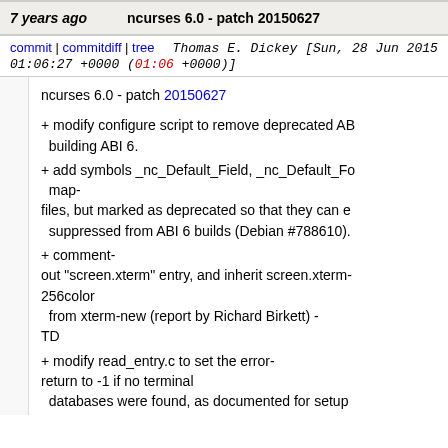7 years ago   ncurses 6.0 - patch 20150627
commit | commitdiff | tree   Thomas E. Dickey [Sun, 28 Jun 2015 01:06:27 +0000 (01:06 +0000)]
ncurses 6.0 - patch 20150627

+ modify configure script to remove deprecated ABI building ABI 6.
+ add symbols _nc_Default_Field, _nc_Default_Fo map-
files, but marked as deprecated so that they can e   suppressed from ABI 6 builds (Debian #788610).
+ comment-
out "screen.xterm" entry, and inherit screen.xterm-
256color
  from xterm-new (report by Richard Birkett) -
TD
+ modify read_entry.c to set the error-
return to -1 if no terminal
  databases were found, as documented for setup
+ add test_setupterm.c to demonstrate normal/err
  setupterm and restartterm functions.
+ amend cleanup change from 20110813 which re
  of ret_error, etc., from tinfo_driver.c, to account fo
  it should return a bool rather than int (report/anal
  Schindelin).